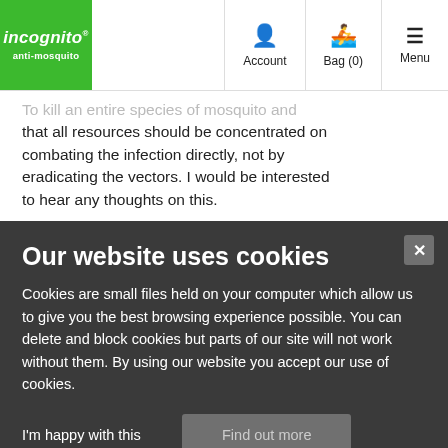[Figure (logo): Incognito anti-mosquito logo: white text on green background square]
Account  Bag (0)  Menu
To kill an entire species of mosquito and that all resources should be concentrated on combating the infection directly, not by eradicating the vectors. I would be interested to hear any thoughts on this.
Our website uses cookies
Cookies are small files held on your computer which allow us to give you the best browsing experience possible. You can delete and block cookies but parts of our site will not work without them. By using our website you accept our use of cookies.
I'm happy with this
Find out more